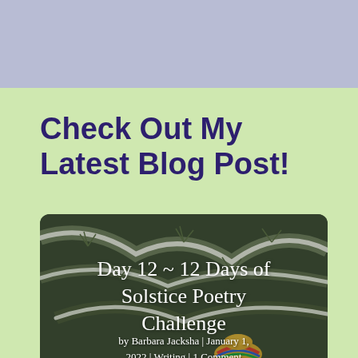Check Out My Latest Blog Post!
[Figure (photo): Snow-covered pine branches with a person wearing a colorful knitted hat, overlaid with text about a blog post: Day 12 ~ 12 Days of Solstice Poetry Challenge, by Barbara Jacksha | January 1, 2022 | Writing | 1 Comment]
Day 12 ~ 12 Days of Solstice Poetry Challenge by Barbara Jacksha | January 1, 2022 | Writing | 1 Comment